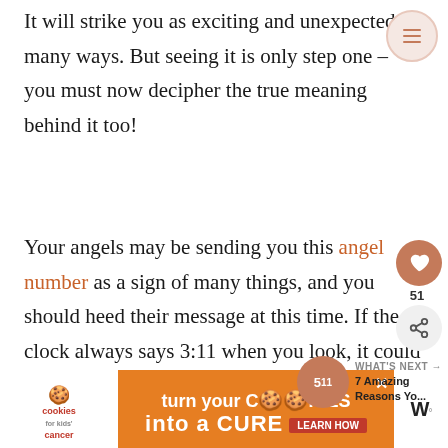It will strike you as exciting and unexpected in many ways. But seeing it is only step one – you must now decipher the true meaning behind it too!
Your angels may be sending you this angel number as a sign of many things, and you should heed their message at this time. If the clock always says 3:11 when you look, it could be your guardian angels trying to reach ou...
[Figure (screenshot): Advertisement banner: 'cookies for kids cancer – turn your COOKIES into a CURE LEARN HOW' with orange background and cookie logo]